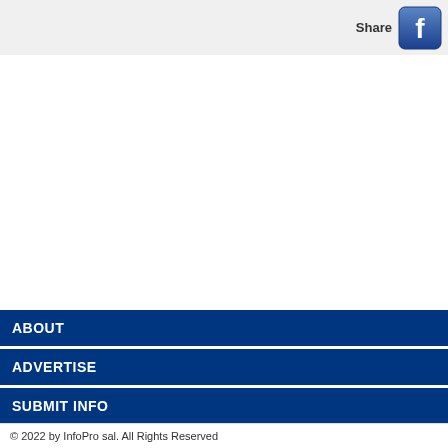[Figure (logo): Facebook share button with 'Share' label and Facebook icon (blue square with white 'f' logo)]
ABOUT
ADVERTISE
SUBMIT INFO
RSS
CONTACT US
© 2022 by InfoPro sal. All Rights Reserved